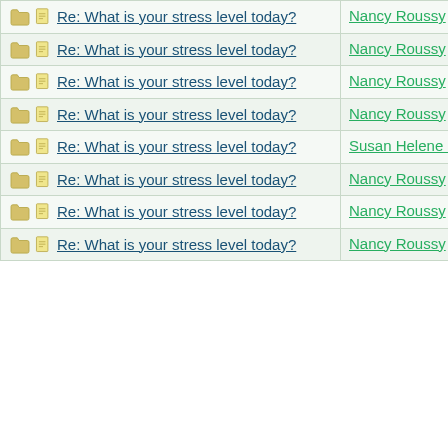| Subject | Author | Date |
| --- | --- | --- |
| Re: What is your stress level today? | Nancy Roussy | 06/27/15 01:17 AM |
| Re: What is your stress level today? | Nancy Roussy | 06/27/15 01:33 PM |
| Re: What is your stress level today? | Nancy Roussy | 06/27/15 11:24 PM |
| Re: What is your stress level today? | Nancy Roussy | 06/28/15 10:51 AM |
| Re: What is your stress level today? | Susan Helene Kramer | 06/28/15 11:13 AM |
| Re: What is your stress level today? | Nancy Roussy | 06/28/15 11:18 PM |
| Re: What is your stress level today? | Nancy Roussy | 06/29/15 10:29 AM |
| Re: What is your stress level today? | Nancy Roussy | 06/29/15 05:53 PM |